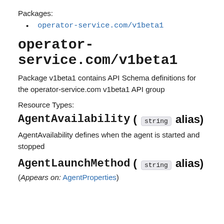Packages:
operator-service.com/v1beta1
operator-service.com/v1beta1
Package v1beta1 contains API Schema definitions for the operator-service.com v1beta1 API group
Resource Types:
AgentAvailability ( string alias)
AgentAvailability defines when the agent is started and stopped
AgentLaunchMethod ( string alias)
(Appears on: AgentProperties)